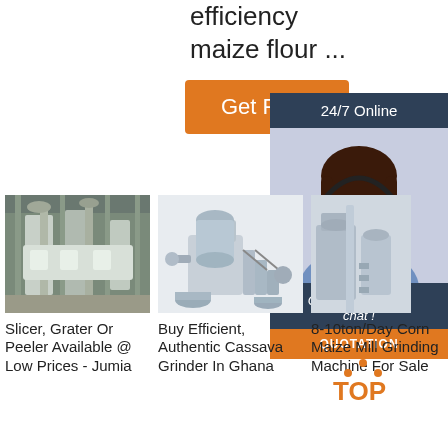efficiency
maize flour ...
[Figure (other): Orange 'Get Price' button]
[Figure (other): 24/7 Online chat widget with woman wearing headset, 'Click here for free chat!' text, and orange QUOTATION button]
[Figure (photo): Photo of industrial grain milling factory equipment]
Slicer, Grater Or Peeler Available @ Low Prices - Jumia
[Figure (photo): Photo of industrial cassava processing machine]
Buy Efficient, Authentic Cassava Grinder In Ghana
[Figure (photo): Partial photo of corn maize mill grinding machine]
8-10ton/Day Corn Maize Mill Grinding Machine For Sale